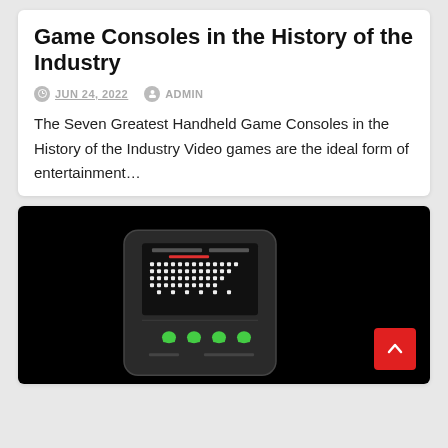Game Consoles in the History of the Industry
JUN 24, 2022   ADMIN
The Seven Greatest Handheld Game Consoles in the History of the Industry Video games are the ideal form of entertainment…
[Figure (photo): Photo of a handheld game console (black device with Space Invaders-style display) against a black background, with a red back-to-top arrow button in the bottom right corner.]